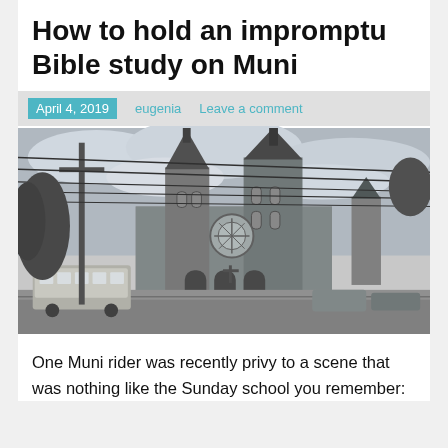How to hold an impromptu Bible study on Muni
April 4, 2019   eugenia   Leave a comment
[Figure (photo): Black and white photograph of a large Gothic-style church with tall spires, a rose window, and stone facade. A Muni bus is visible in the foreground on the street, along with power lines and a utility pole.]
One Muni rider was recently privy to a scene that was nothing like the Sunday school you remember: